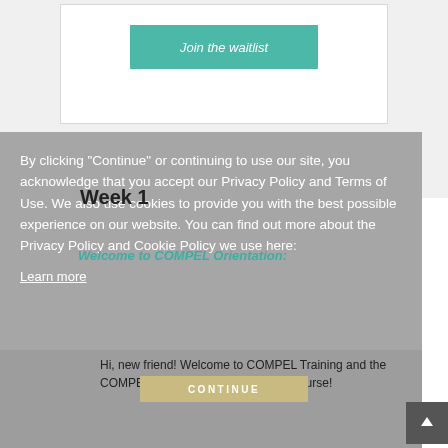[Figure (screenshot): Join the waitlist button on a white card area]
By clicking "Continue" or continuing to use our site, you acknowledge that you accept our Privacy Policy and Terms of Use. We also use cookies to provide you with the best possible experience on our website. You can find out more about the Privacy Policy and Cookie Policy we use here:
Learn more
Week 1
Welcome to COMPEL Orientation:
Hi, new friend! Welcome to COMPEL Training and the COMPEL New Member Orientation Course!
CONTINUE